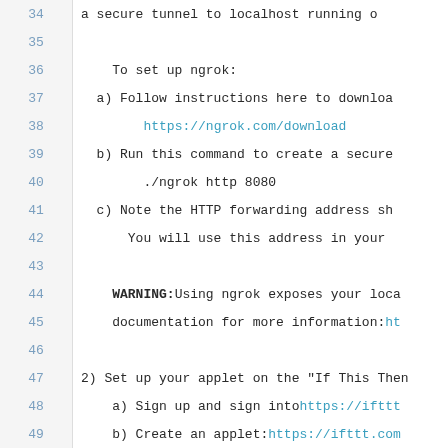34    a secure tunnel to localhost running o
35
36        To set up ngrok:
37    a) Follow instructions here to downloa
38        https://ngrok.com/download
39    b) Run this command to create a secure
40        ./ngrok http 8080
41    c) Note the HTTP forwarding address sh
42        You will use this address in your
43
44    WARNING: Using ngrok exposes your loca
45        documentation for more information: ht
46
47 2) Set up your applet on the "If This Then
48    a) Sign up and sign into https://ifttt
49    b) Create an applet: https://ifttt.com
50    c) Set up your trigger.
51        1. Click "this".
52        2. Select "Maker Webhooks" as your
53        3. Under "Choose a Trigger", selec